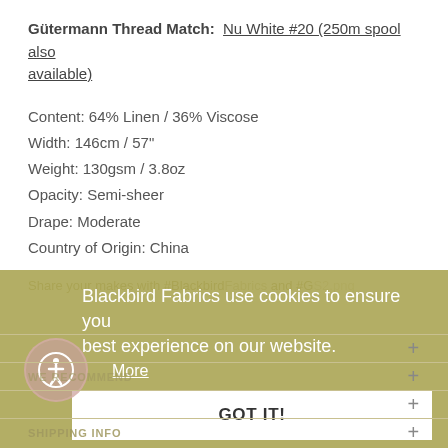Gütermann Thread Match: Nu White #20 (250m spool also available)
Content: 64% Linen / 36% Viscose
Width: 146cm / 57"
Weight: 130gsm / 3.8oz
Opacity: Semi-sheer
Drape: Moderate
Country of Origin: China
Share your makes with #BlackbirdFabrics and #GS2.png
Blackbird Fabrics use cookies to ensure you best experience on our website. More
GOT IT!